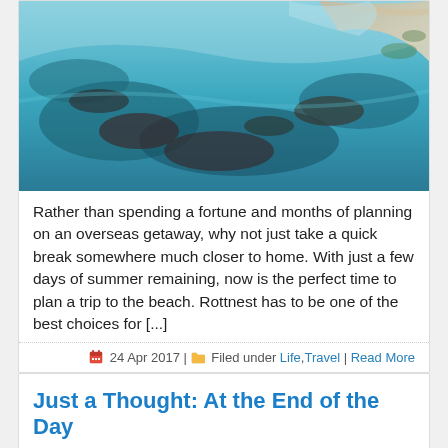[Figure (photo): Aerial view of a tropical coastline with turquoise water, coral reefs, sandy beach, and rocky outcrops — likely Rottnest Island, Western Australia.]
Rather than spending a fortune and months of planning on an overseas getaway, why not just take a quick break somewhere much closer to home. With just a few days of summer remaining, now is the perfect time to plan a trip to the beach. Rottnest has to be one of the best choices for [...]
24 Apr 2017 | Filed under Life, Travel | Read More
Just a Thought: At the End of the Day
[Figure (photo): Dark reddish-toned image, appears to show a person or figure in low lighting.]